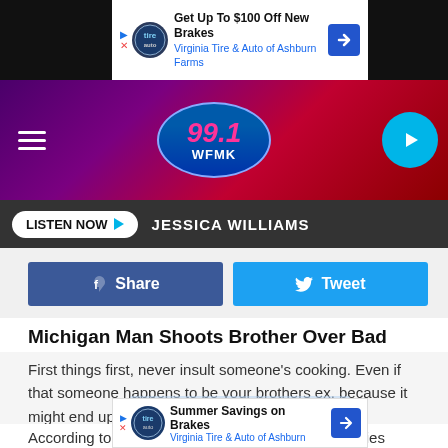[Figure (screenshot): Top ad banner: Get Up To $100 Off New Brakes - Virginia Tire & Auto of Ashburn Farms]
[Figure (logo): 99.1 WFMK radio station header with logo, hamburger menu, and play button]
JESSICA WILLIAMS
LISTEN NOW
Share
Tweet
Michigan Man Shoots Brother Over Bad Joke
First things first, never insult someone's cooking. Even if that someone happens to be your brothers ex, because it might end up with you getting shot at.
According to MLive, on June 25, Bay County deputies responded to a domestic violence call in Bangor Township. When t... rn and told th... oot
[Figure (screenshot): Bottom ad banner: Summer Savings on Brakes - Virginia Tire & Auto of Ashburn]